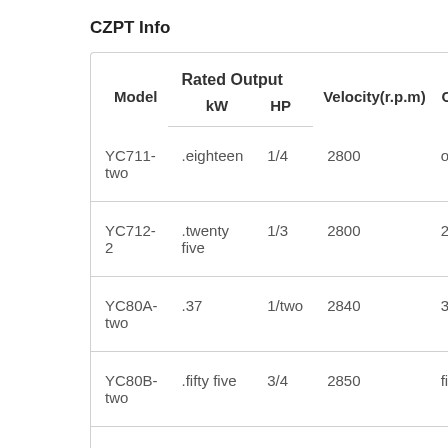CZPT Info
| Model | kW | HP | Velocity(r.p.m) | Curr |
| --- | --- | --- | --- | --- |
| YC711-two | .eighteen | 1/4 | 2800 | one.9 |
| YC712-2 | .twenty five | 1/3 | 2800 | 2.4 |
| YC80A-two | .37 | 1/two | 2840 | 3.five |
| YC80B-two | .fifty five | 3/4 | 2850 | five.0 |
|  | .seventy |  |  |  |